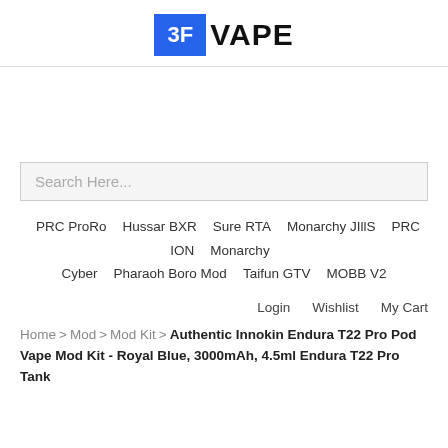[Figure (logo): 3F VAPE logo — blue square with white '3F' text followed by 'VAPE' in bold black letters]
Search Here...
PRC ProRo   Hussar BXR   Sure RTA   Monarchy JIllS   PRC ION   Monarchy Cyber   Pharaoh Boro Mod   Taifun GTV   MOBB V2
Login   Wishlist   My Cart
Home > Mod > Mod Kit > Authentic Innokin Endura T22 Pro Pod Vape Mod Kit - Royal Blue, 3000mAh, 4.5ml Endura T22 Pro Tank